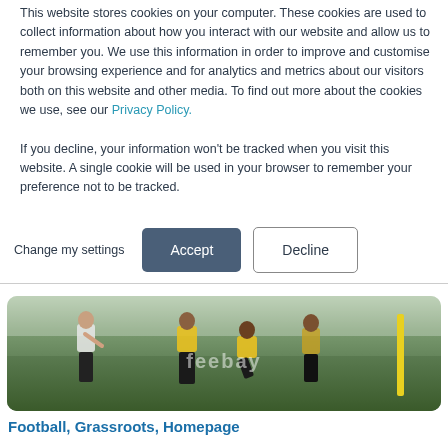This website stores cookies on your computer. These cookies are used to collect information about how you interact with our website and allow us to remember you. We use this information in order to improve and customise your browsing experience and for analytics and metrics about our visitors both on this website and other media. To find out more about the cookies we use, see our Privacy Policy.

If you decline, your information won't be tracked when you visit this website. A single cookie will be used in your browser to remember your preference not to be tracked.
Change my settings
Accept
Decline
[Figure (photo): Photo of football players training on a grass field, some wearing yellow bibs, with a yellow cone/pole on the right. Text watermark 'feebay' visible in center.]
Football, Grassroots, Homepage